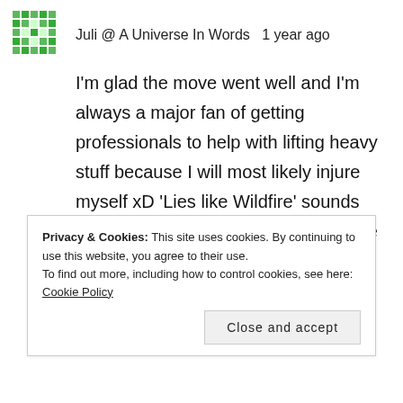[Figure (illustration): Green pixel/mosaic avatar icon for Juli @ A Universe In Words]
Juli @ A Universe In Words   1 year ago
I'm glad the move went well and I'm always a major fan of getting professionals to help with lifting heavy stuff because I will most likely injure myself xD ‘Lies like Wildfire’ sounds intriguing and I do think I agree on the UK cover being the best.
Juli @ A Universe in Words
Privacy & Cookies: This site uses cookies. By continuing to use this website, you agree to their use.
To find out more, including how to control cookies, see here: Cookie Policy
Close and accept